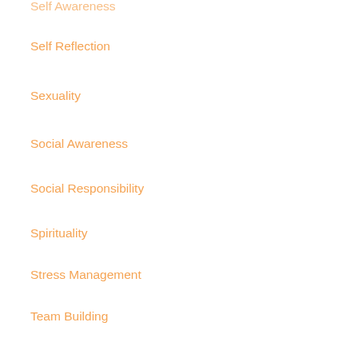Self Awareness
Self Reflection
Sexuality
Social Awareness
Social Responsibility
Spirituality
Stress Management
Team Building
Technology
Time Management
Uncategorized
Videos
Weight Release